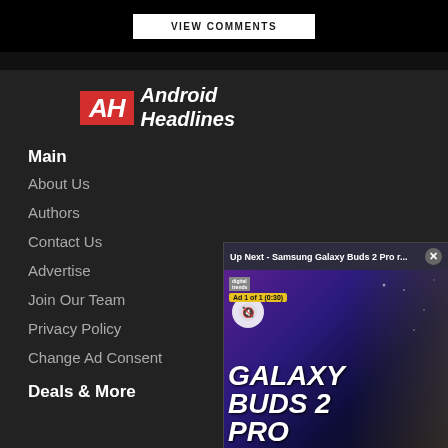VIEW COMMENTS
[Figure (logo): Android Headlines logo - red AH box with white italic text 'Android Headlines']
Main
About Us
Authors
Contact Us
Advertise
Join Our Team
Privacy Policy
Change Ad Consent
[Figure (screenshot): Video overlay showing 'Up Next - Samsung Galaxy Buds 2 Pro r...' with close button, ad badge '1 of 1 (0:30)', mute button, Galaxy Buds 2 Pro text with person holding earbud]
Deals & More